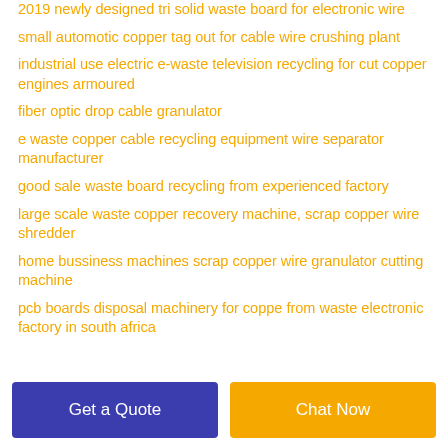2019 newly designed tri solid waste board for electronic wire
small automotic copper tag out for cable wire crushing plant
industrial use electric e-waste television recycling for cut copper engines armoured
fiber optic drop cable granulator
e waste copper cable recycling equipment wire separator manufacturer
good sale waste board recycling from experienced factory
large scale waste copper recovery machine, scrap copper wire shredder
home bussiness machines scrap copper wire granulator cutting machine
pcb boards disposal machinery for coppe from waste electronic factory in south africa